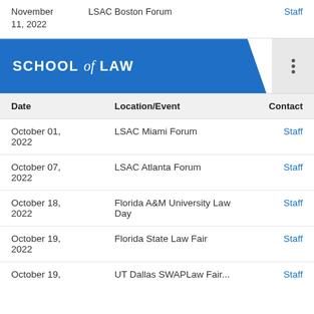November 11, 2022 | LSAC Boston Forum | Staff
SCHOOL of LAW
| Date | Location/Event | Contact |
| --- | --- | --- |
| October 01, 2022 | LSAC Miami Forum | Staff |
| October 07, 2022 | LSAC Atlanta Forum | Staff |
| October 18, 2022 | Florida A&M University Law Day | Staff |
| October 19, 2022 | Florida State Law Fair | Staff |
| October 19, ... | UT Dallas SWAPLaw Fair... | Staff |